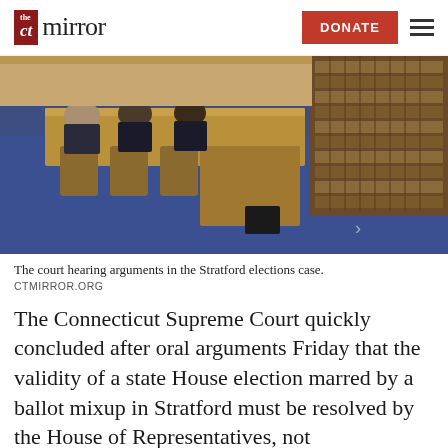CT Mirror — DONATE
[Figure (photo): Court hearing scene showing lawyers seated at a table from behind, with bookshelves full of law books in the background, blue carpet on the floor.]
The court hearing arguments in the Stratford elections case.
CTMIRROR.ORG
The Connecticut Supreme Court quickly concluded after oral arguments Friday that the validity of a state House election marred by a ballot mixup in Stratford must be resolved by the House of Representatives, not